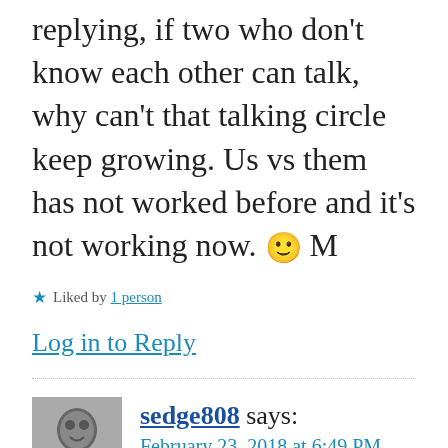replying, if two who don't know each other can talk, why can't that talking circle keep growing. Us vs them has not worked before and it's not working now. 🙂 M
★ Liked by 1 person
Log in to Reply
sedge808 says:
February 23, 2018 at 6:49 PM